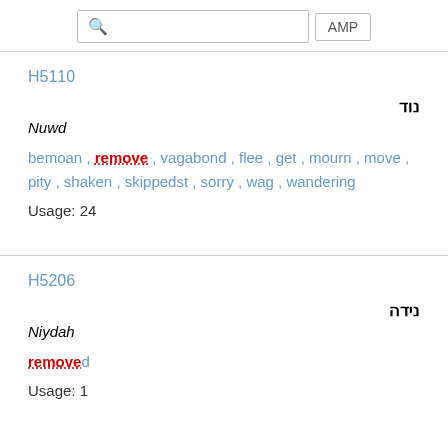AMP
H5110
נוד
Nuwd
bemoan , remove , vagabond , flee , get , mourn , move , pity , shaken , skippedst , sorry , wag , wandering
Usage: 24
H5206
נידה
Niydah
removed
Usage: 1